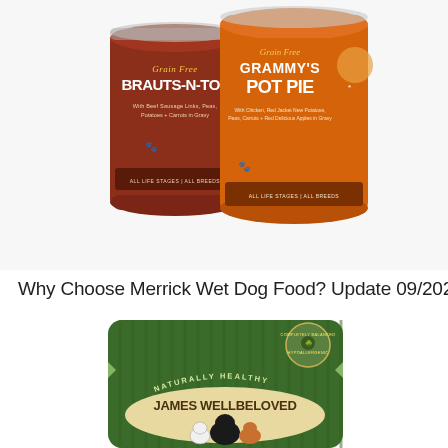[Figure (photo): Two cans of Merrick grain-free wet dog food: 'Brauts-N-Tot' (red/brown can with beef sausage links, peas, potatoes and carrots in gravy, all life stages all breeds) and 'Grammy's Pot Pie' (orange can with chicken, red jacket new potatoes, peas, carrots and red delicious apples in gravy, all life stages all breeds). Grain Free labels on both.]
Why Choose Merrick Wet Dog Food? Update 09/2022
[Figure (photo): A green foil pouch of James Wellbeloved dog food. The pouch has vertical ridges, a circular badge reading 'Completely Balanced Nutrition / Hypoallergenic', text 'Naturally Healthy' in an arc, and 'JAMES WELLBELOVED' in large lettering with an illustration of three dogs (border collie, dalmatian, golden/red dog) on a cream banner.]